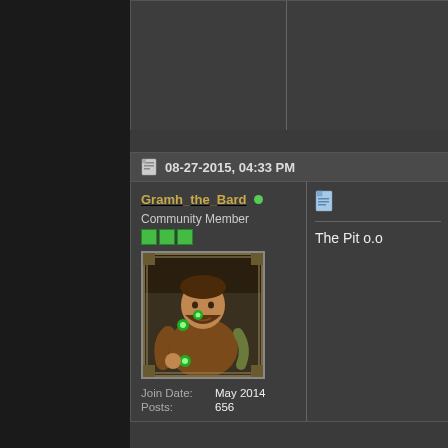08-27-2015, 04:33 PM
Gramh_the_Bard [online] Community Member
Join Date: May 2014
Posts: 656
The Pit o.o
08-27-2015, 04:33 PM
Hafeal [online] Hero Knight of Movember 2014 DDO Players Council
Originally Posted by